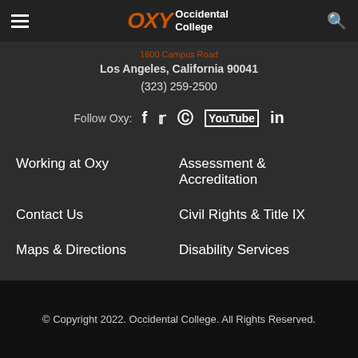OXY Occidental College
1600 Campus Road
Los Angeles, California 90041
(323) 259-2500
Follow Oxy:  f  Twitter  Instagram  YouTube  LinkedIn
Working at Oxy
Assessment & Accreditation
Contact Us
Civil Rights & Title IX
Maps & Directions
Disability Services
© Copyright 2022. Occidental College. All Rights Reserved.